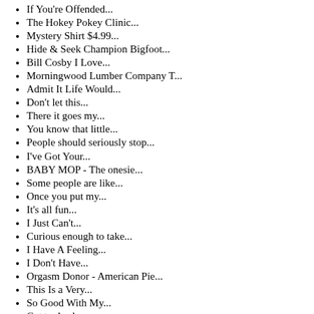If You're Offended...
The Hokey Pokey Clinic...
Mystery Shirt $4.99...
Hide & Seek Champion Bigfoot...
Bill Cosby I Love...
Morningwood Lumber Company T...
Admit It Life Would...
Don't let this...
There it goes my...
You know that little...
People should seriously stop...
I've Got Your...
BABY MOP - The onesie...
Some people are like...
Once you put my...
It's all fun...
I Just Can't...
Curious enough to take...
I Have A Feeling...
I Don't Have...
Orgasm Donor - American Pie...
This Is a Very...
So Good With My...
Get to da choppa...
Last Name Thing Custom...
Grand Torino - Whe...